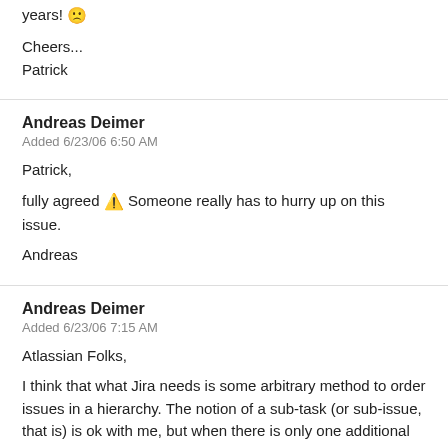years! 🙁
Cheers...
Patrick
Andreas Deimer
Added 6/23/06 6:50 AM
Patrick,
fully agreed ⚠ Someone really has to hurry up on this issue.
Andreas
Andreas Deimer
Added 6/23/06 7:15 AM
Atlassian Folks,
I think that what Jira needs is some arbitrary method to order issues in a hierarchy. The notion of a sub-task (or sub-issue, that is) is ok with me, but when there is only one additional level of contained element, it might not be enough for complex tasks. (OK, ok, you might limit the number of hierarchy levels by, lets say 10, so we do not get to infinity...) Often, some sub-task of a new feature seems